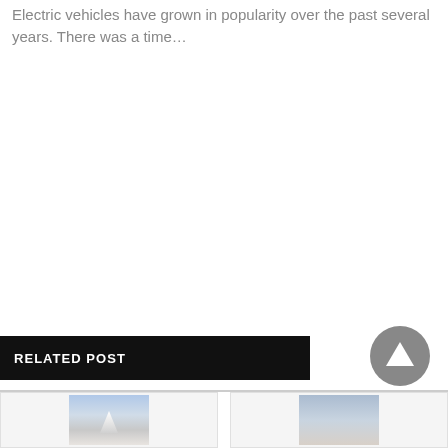Electric vehicles have grown in popularity over the past several years. There was a time…
RELATED POST
[Figure (other): Up/back-to-top circular button with upward triangle arrow, dark gray]
[Figure (photo): Thumbnail photo of a snow-capped mountain peak against a blue/gray sky]
[Figure (photo): Thumbnail photo, muted landscape or scene]